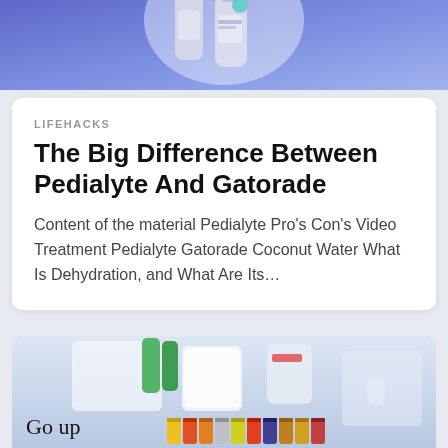[Figure (photo): Top portion of a card showing products (bottles/tubes) against a blue/purple gradient background]
LIFEHACKS
The Big Difference Between Pedialyte And Gatorade
Content of the material Pedialyte Pro's Con's Video Treatment Pedialyte Gatorade Coconut Water What Is Dehydration, and What Are Its…
[Figure (photo): Photo of household supplies including green bottles, a white appliance, and AA batteries arranged on a light blue background]
Go up